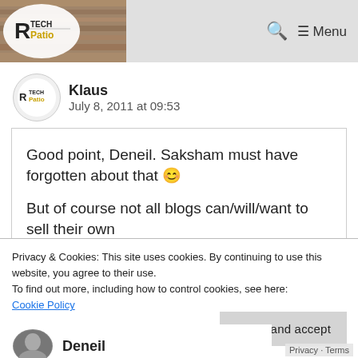[Figure (logo): TechPatio logo - a tech blog logo with stylized letter and wood background]
🔍  ≡ Menu
Klaus
July 8, 2011 at 09:53
Good point, Deneil. Saksham must have forgotten about that 🙂

But of course not all blogs can/will/want to sell their own
Privacy & Cookies: This site uses cookies. By continuing to use this website, you agree to their use.
To find out more, including how to control cookies, see here:
Cookie Policy
Close and accept
Deneil